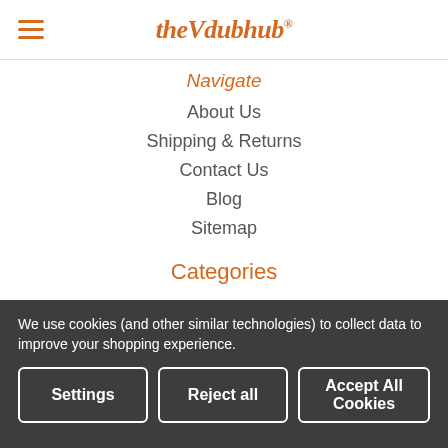theVdubhub
Navigate
About Us
Shipping & Returns
Contact Us
Blog
Sitemap
Categories
Accessories
Apparel
Durastrap Leather
Stickers & Patches
We use cookies (and other similar technologies) to collect data to improve your shopping experience.